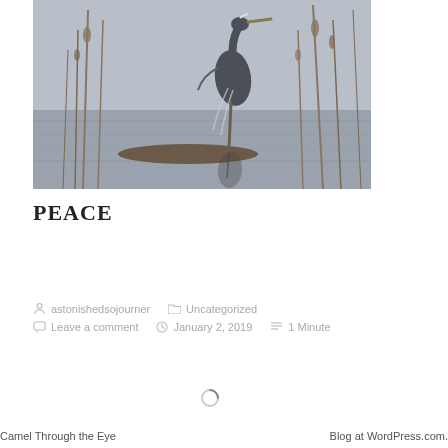[Figure (photo): A great blue heron standing on a rock or log at the water's edge, with its reflection visible in the calm water below, surrounded by bare winter reeds and branches on a grey overcast day.]
PEACE
astonishedsojourner   Uncategorized   Leave a comment   January 2, 2019   1 Minute
[Figure (other): Loading spinner icon]
Camel Through the Eye
Blog at WordPress.com.